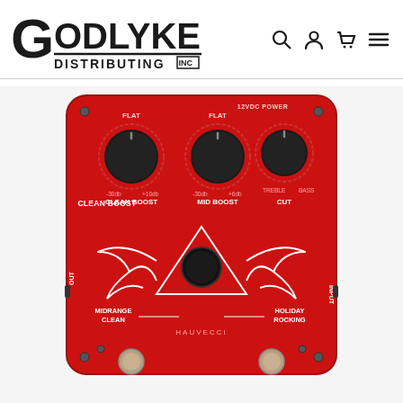Godlyke Distributing Inc — navigation header with search, login, cart, and menu icons
[Figure (photo): Red guitar effects pedal (Godlyke / Hauvecci brand) with three knobs labeled CLEAN BOOST, MID BOOST, and CUT, a winged triangle logo in the center, a footswitch, and labels MIDRANGE CLEAN and HOLIDAY ROCKING on a bright red enclosure. Knob labels include FLAT, -30db, +10db, -30db, +6db, TREBLE, BASS, 12VDC POWER. OUT and INPUT jacks on sides. Brand text: HAUVECCI at bottom center.]